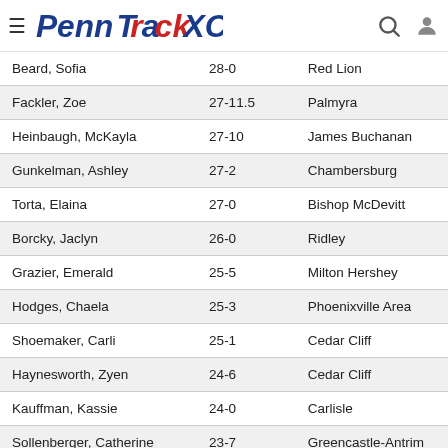PennTrackXC
| Name | Mark | School |
| --- | --- | --- |
| Beard, Sofia | 28-0 | Red Lion |
| Fackler, Zoe | 27-11.5 | Palmyra |
| Heinbaugh, McKayla | 27-10 | James Buchanan |
| Gunkelman, Ashley | 27-2 | Chambersburg |
| Torta, Elaina | 27-0 | Bishop McDevitt |
| Borcky, Jaclyn | 26-0 | Ridley |
| Grazier, Emerald | 25-5 | Milton Hershey |
| Hodges, Chaela | 25-3 | Phoenixville Area |
| Shoemaker, Carli | 25-1 | Cedar Cliff |
| Haynesworth, Zyen | 24-6 | Cedar Cliff |
| Kauffman, Kassie | 24-0 | Carlisle |
| Sollenberger, Catherine | 23-7 | Greencastle-Antrim |
| Long, Kylie | 23-2 | Waynesboro |